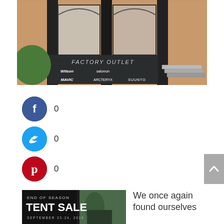[Figure (photo): Exterior photo of a Factory Outlet store with brands Wilson, Salomon, Mavic, Arc'teryx, Suunto on a dark sign, brick building facade]
0 (Facebook shares)
0 (Twitter shares)
0 (Pinterest shares)
[Figure (photo): End of Season Tent Sale advertisement - September 23-24, 2016]
We once again found ourselves